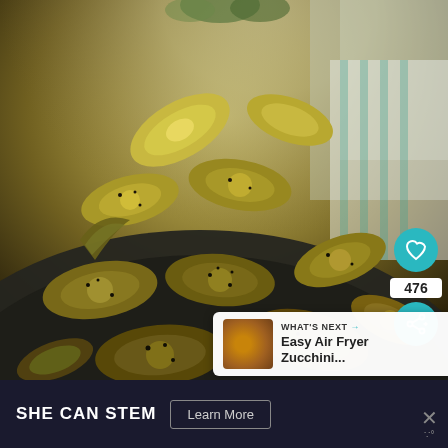[Figure (photo): Close-up food photo of roasted yellow summer squash slices with black pepper, arranged in a dark bowl. Background shows green herbs and a striped cloth. Social media interface overlays visible: heart/like button with count 476, share button, and a 'What's Next' recommendation card for 'Easy Air Fryer Zucchini...']
476
WHAT'S NEXT →
Easy Air Fryer Zucchini...
SHE CAN STEM
Learn More